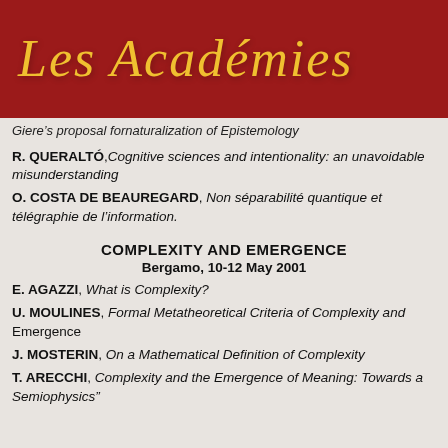Les Académies
Giere's proposal fornaturalization of Epistemology
R. QUERALTÓ, Cognitive sciences and intentionality: an unavoidable misunderstanding
O. COSTA DE BEAUREGARD, Non séparabilité quantique et télégraphie de l'information.
COMPLEXITY AND EMERGENCE
Bergamo, 10-12 May 2001
E. AGAZZI, What is Complexity?
U. MOULINES, Formal Metatheoretical Criteria of Complexity and Emergence
J. MOSTERIN, On a Mathematical Definition of Complexity
T. ARECCHI, Complexity and the Emergence of Meaning: Towards a Semiophysics"